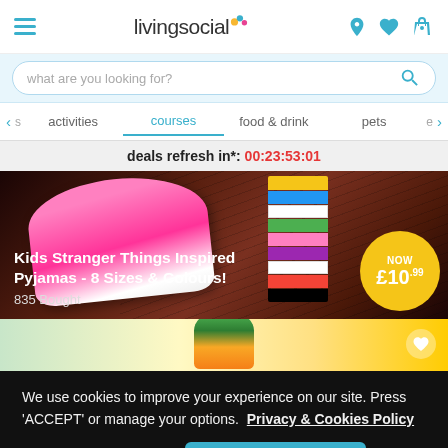livingsocial
what are you looking for?
activities  courses  food & drink  pets
deals refresh in*: 00:23:53:01
[Figure (photo): Kids Stranger Things Inspired Pyjamas product image showing pink shorts and stacked colourful shorts on dark background]
Kids Stranger Things Inspired Pyjamas - 8 Sizes & Colours! 835 Bought NOW £10.99
[Figure (photo): Partial view of a second product card showing fruits/vegetables on yellow background]
We use cookies to improve your experience on our site. Press 'ACCEPT' or manage your options. Privacy & Cookies Policy
Options
ACCEPT